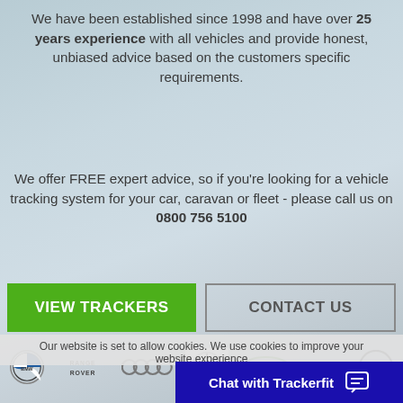We have been established since 1998 and have over 25 years experience with all vehicles and provide honest, unbiased advice based on the customers specific requirements.
We offer FREE expert advice, so if you're looking for a vehicle tracking system for your car, caravan or fleet - please call us on 0800 756 5100
VIEW TRACKERS
CONTACT US
[Figure (logo): Car brand logos: BMW, Range Rover, Audi, Mercedes-Benz, Land Rover, Jaguar, Volkswagen]
Our website is set to allow cookies. We use cookies to improve your website experience
Chat with Trackerfit